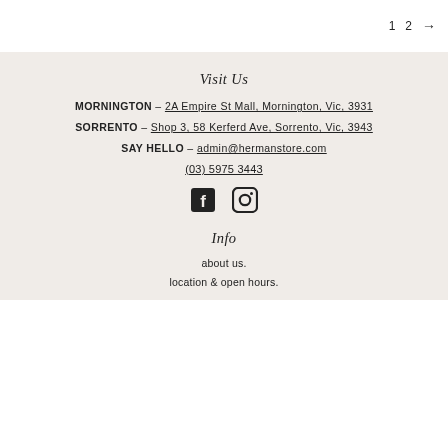1  2  →
Visit Us
MORNINGTON – 2A Empire St Mall, Mornington, Vic, 3931
SORRENTO – Shop 3, 58 Kerferd Ave, Sorrento, Vic, 3943
SAY HELLO – admin@hermanstore.com
(03) 5975 3443
[Figure (illustration): Facebook and Instagram social media icons]
Info
about us.
location & open hours.